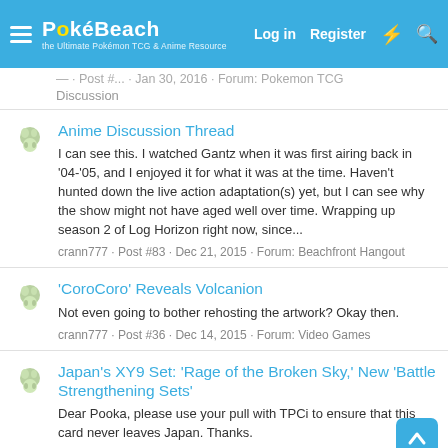PokéBeach — Log in | Register
Discussion
Anime Discussion Thread
I can see this. I watched Gantz when it was first airing back in '04-'05, and I enjoyed it for what it was at the time. Haven't hunted down the live action adaptation(s) yet, but I can see why the show might not have aged well over time. Wrapping up season 2 of Log Horizon right now, since...
crann777 · Post #83 · Dec 21, 2015 · Forum: Beachfront Hangout
'CoroCoro' Reveals Volcanion
Not even going to bother rehosting the artwork? Okay then.
crann777 · Post #36 · Dec 14, 2015 · Forum: Video Games
Japan's XY9 Set: 'Rage of the Broken Sky,' New 'Battle Strengthening Sets'
Dear Pooka, please use your pull with TPCi to ensure that this card never leaves Japan. Thanks.
crann777 · Post #1,112 · Dec 5, 2015 · Forum: Pokemon TCG